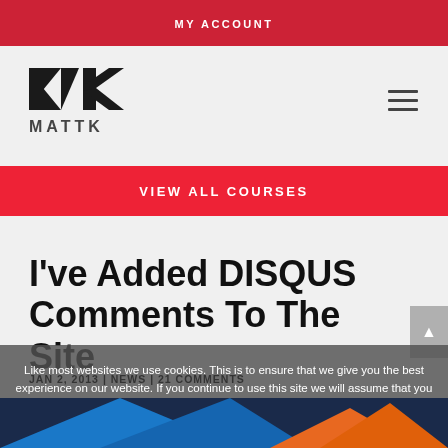MY ACCOUNT
[Figure (logo): MATTK logo with stylized MK monogram in black]
VIEW ALL COURSES
I've Added DISQUS Comments To The Site
JAN 2, 2013 | NEWS | 21 COMMENTS
Like most websites we use cookies. This is to ensure that we give you the best experience on our website. If you continue to use this site we will assume that you are happy with it.
[Figure (screenshot): Partial bottom image with blue and orange geometric shapes]